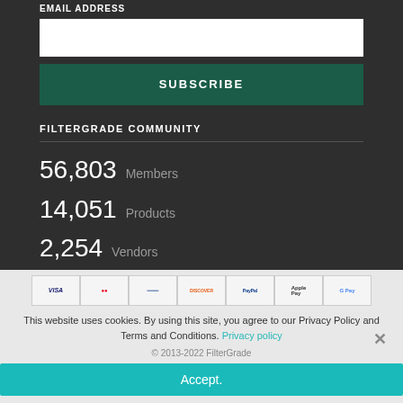EMAIL ADDRESS
[Email input field]
SUBSCRIBE
FILTERGRADE COMMUNITY
56,803 Members
14,051 Products
2,254 Vendors
This website uses cookies. By using this site, you agree to our Privacy Policy and Terms and Conditions. Privacy policy
© 2013-2022 FilterGrade
Accept.